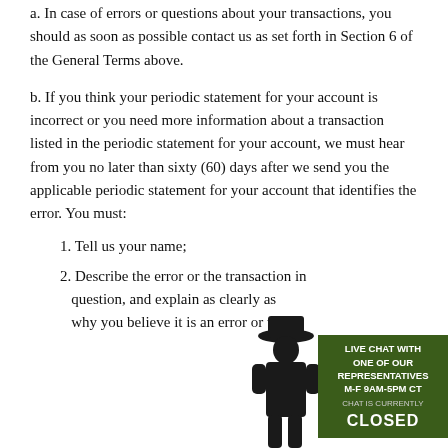a. In case of errors or questions about your transactions, you should as soon as possible contact us as set forth in Section 6 of the General Terms above.
b. If you think your periodic statement for your account is incorrect or you need more information about a transaction listed in the periodic statement for your account, we must hear from you no later than sixty (60) days after we send you the applicable periodic statement for your account that identifies the error. You must:
1. Tell us your name;
2. Describe the error or the transaction in question, and explain as clearly as possible why you believe it is an error or why
[Figure (illustration): A live chat widget showing a character in a cowboy hat holding a green sign that reads LIVE CHAT WITH ONE OF OUR REPRESENTATIVES M-F 9AM-5PM CT. CHAT IS CURRENTLY CLOSED.]